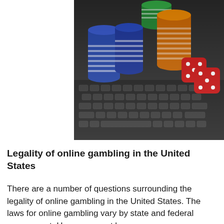[Figure (photo): Stacks of casino chips (blue, white, green, orange) and red dice resting on a laptop keyboard, representing online gambling.]
Legality of online gambling in the United States
There are a number of questions surrounding the legality of online gambling in the United States. The laws for online gambling vary by state and federal government. However, most laws have been passed without any specific gambling industry knowledge. As a result, some laws may be vague and open to interpretation and crusades. To avoid tripping over any of these legalities, make sure to check the laws in your